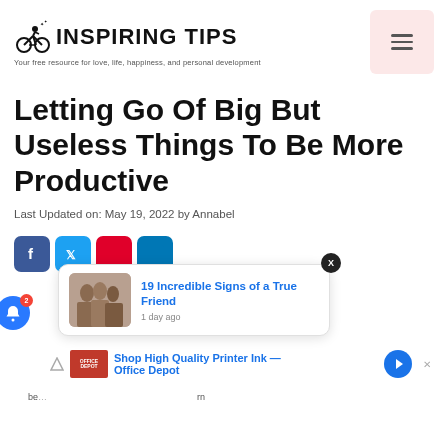INSPIRING TIPS — Your free resource for love, life, happiness, and personal development
Letting Go Of Big But Useless Things To Be More Productive
Last Updated on: May 19, 2022 by Annabel
[Figure (screenshot): Social share buttons (Facebook, Twitter, Pinterest, LinkedIn), notification bell with badge count 2, and a popup card showing '19 Incredible Signs of a True Friend' with image, 1 day ago]
[Figure (screenshot): Ad bar: Office Depot logo with 'Shop High Quality Printer Ink — Office Depot' text and navigation arrow]